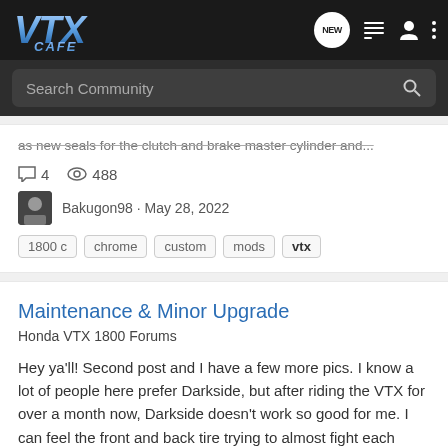VTX CAFE - navigation bar with logo, NEW button, list icon, user icon, dots menu
Search Community
as new seals for the clutch and brake master cylinder and...
4 comments · 488 views · Bakugon98 · May 28, 2022
Tags: 1800 c, chrome, custom, mods, vtx
Maintenance & Minor Upgrade
Honda VTX 1800 Forums
Hey ya'll! Second post and I have a few more pics. I know a lot of people here prefer Darkside, but after riding the VTX for over a month now, Darkside doesn't work so good for me. I can feel the front and back tire trying to almost fight each other whenever I go into any type of corner. And...
4 comments · 611 views